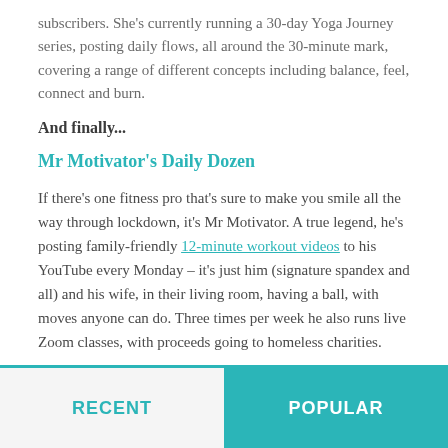subscribers. She's currently running a 30-day Yoga Journey series, posting daily flows, all around the 30-minute mark, covering a range of different concepts including balance, feel, connect and burn.
And finally...
Mr Motivator's Daily Dozen
If there's one fitness pro that's sure to make you smile all the way through lockdown, it's Mr Motivator. A true legend, he's posting family-friendly 12-minute workout videos to his YouTube every Monday – it's just him (signature spandex and all) and his wife, in their living room, having a ball, with moves anyone can do. Three times per week he also runs live Zoom classes, with proceeds going to homeless charities.
RECENT | POPULAR